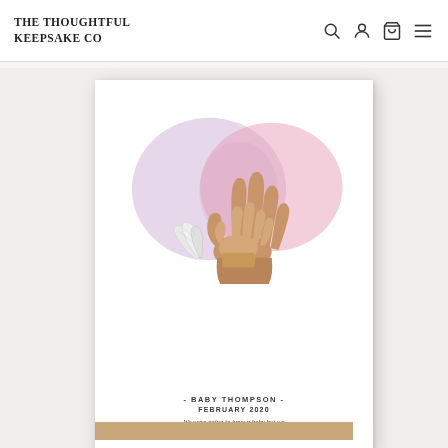THE THOUGHTFUL KEEPSAKE CO
[Figure (illustration): A framed art print showing watercolor hands (parent and baby) with angel wings on baby's wrist, pink and purple watercolor background wash. Text inside frame reads '- BABY THOMPSON - FEBRUARY 2020' and cursive quote 'We were going to have a baby but we had an angel instead'. Frame is white, sitting on a wooden shelf.]